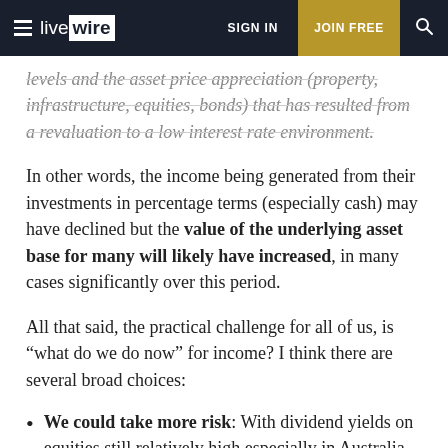livewire — SIGN IN | JOIN FREE
levels and the asset price appreciation (property, infrastructure, equities, bonds) that has resulted from a revaluation to a low interest rate environment.
In other words, the income being generated from their investments in percentage terms (especially cash) may have declined but the value of the underlying asset base for many will likely have increased, in many cases significantly over this period.
All that said, the practical challenge for all of us, is “what do we do now” for income? I think there are several broad choices:
We could take more risk: With dividend yields on equities still relatively high especially in Australia, dividend income looks attractive, but it will come